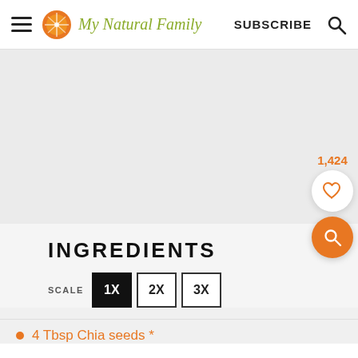My Natural Family | SUBSCRIBE
[Figure (photo): Gray placeholder image area for a recipe photo]
1,424
INGREDIENTS
SCALE 1X 2X 3X
4 Tbsp Chia seeds *